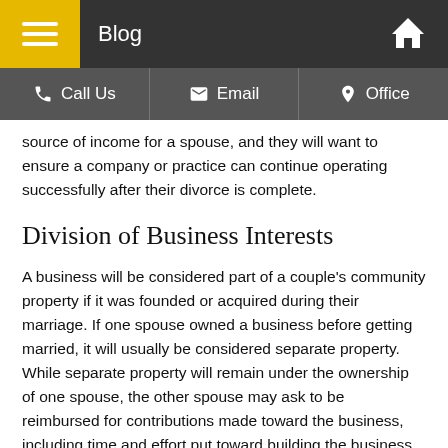Blog
Call Us | Email | Office
source of income for a spouse, and they will want to ensure a company or practice can continue operating successfully after their divorce is complete.
Division of Business Interests
A business will be considered part of a couple’s community property if it was founded or acquired during their marriage. If one spouse owned a business before getting married, it will usually be considered separate property. While separate property will remain under the ownership of one spouse, the other spouse may ask to be reimbursed for contributions made toward the business, including time and effort put toward building the business or marital funds that were used to pay off business debts.
When a business is included in community property, spouses will